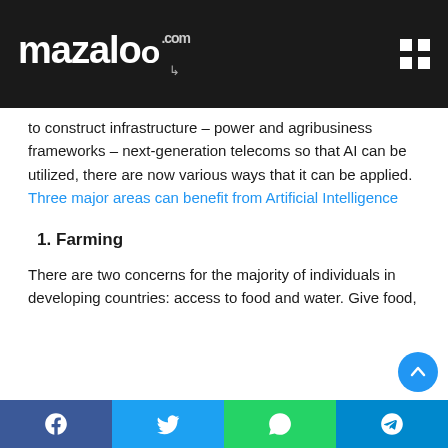mazaloo.com
to construct infrastructure – power and agribusiness frameworks – next-generation telecoms so that AI can be utilized, there are now various ways that it can be applied. Three major areas can benefit from Artificial Intelligence
1. Farming
There are two concerns for the majority of individuals in developing countries: access to food and water. Give food,
Facebook | Twitter | WhatsApp | Telegram